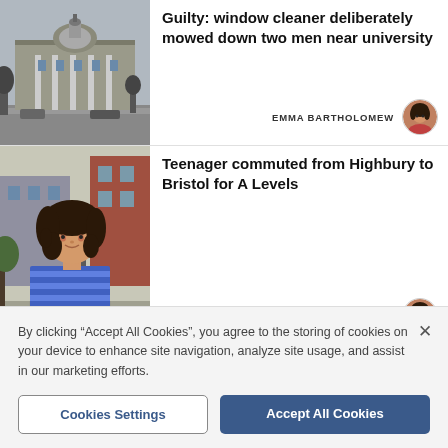[Figure (photo): Black and white photo of a grand historic building with a dome, street scene]
Guilty: window cleaner deliberately mowed down two men near university
EMMA BARTHOLOMEW
[Figure (photo): Photo of a teenage girl with long dark curly hair, smiling, wearing a blue striped top, outdoors]
Teenager commuted from Highbury to Bristol for A Levels
EMMA BARTHOLOMEW
By clicking "Accept All Cookies", you agree to the storing of cookies on your device to enhance site navigation, analyze site usage, and assist in our marketing efforts.
Cookies Settings
Accept All Cookies